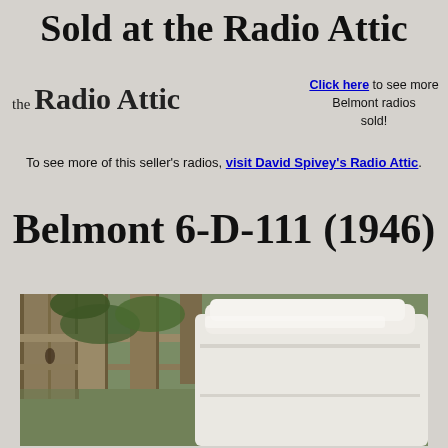Sold at the Radio Attic
[Figure (logo): the Radio Attic logo text]
Click here to see more Belmont radios sold!
To see more of this seller's radios, visit David Spivey's Radio Attic.
Belmont 6-D-111 (1946)
[Figure (photo): Photo of a white Belmont 6-D-111 radio from 1946, shown against a wooden fence and green foliage background]